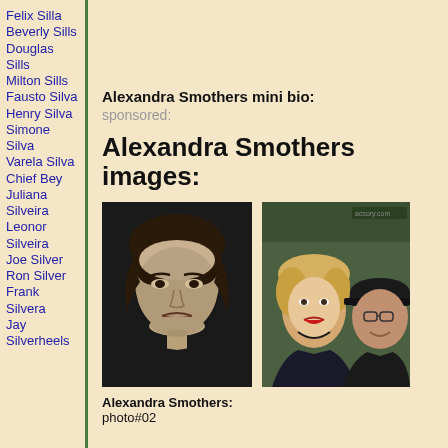Felix Silla
Beverly Sills
Douglas Sills
Milton Sills
Fausto Silva
Henry Silva
Simone Silva
Varela Silva
Chief Bey
Juliana Silveira
Leonor Silveira
Joe Silver
Ron Silver
Frank Silvera
Jay Silverheels
Alexandra Smothers mini bio:
sponsored:
Alexandra Smothers images:
[Figure (photo): Black and white headshot portrait of Alexandra Smothers]
Alexandra Smothers: photo#02
[Figure (photo): Color photo of Alexandra Smothers with a man at an event]